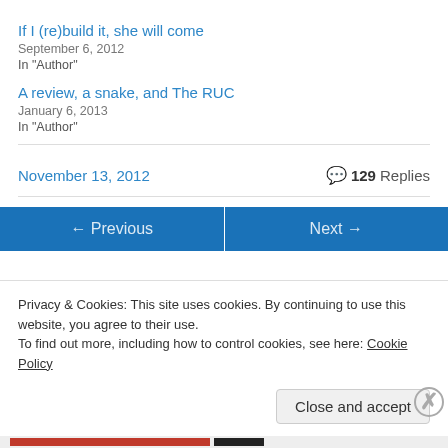If I (re)build it, she will come
September 6, 2012
In "Author"
A review, a snake, and The RUC
January 6, 2013
In "Author"
November 13, 2012
💬 129 Replies
Privacy & Cookies: This site uses cookies. By continuing to use this website, you agree to their use.
To find out more, including how to control cookies, see here: Cookie Policy
Close and accept